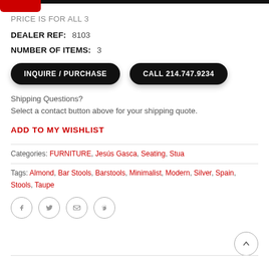PRICE IS FOR ALL 3
DEALER REF: 8103
NUMBER OF ITEMS: 3
INQUIRE / PURCHASE | CALL 214.747.9234
Shipping Questions?
Select a contact button above for your shipping quote.
ADD TO MY WISHLIST
Categories: FURNITURE, Jesús Gasca, Seating, Stua
Tags: Almond, Bar Stools, Barstools, Minimalist, Modern, Silver, Spain, Stools, Taupe